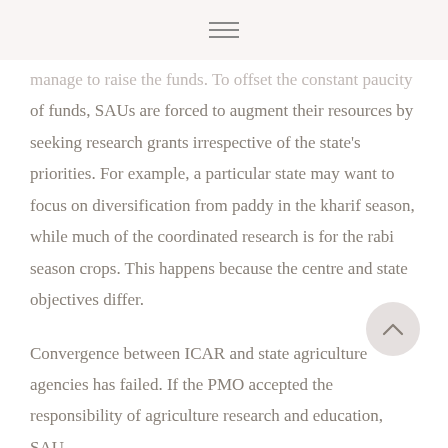≡
manage to raise the funds. To offset the constant paucity of funds, SAUs are forced to augment their resources by seeking research grants irrespective of the state's priorities. For example, a particular state may want to focus on diversification from paddy in the kharif season, while much of the coordinated research is for the rabi season crops. This happens because the centre and state objectives differ.
Convergence between ICAR and state agriculture agencies has failed. If the PMO accepted the responsibility of agriculture research and education, SAU